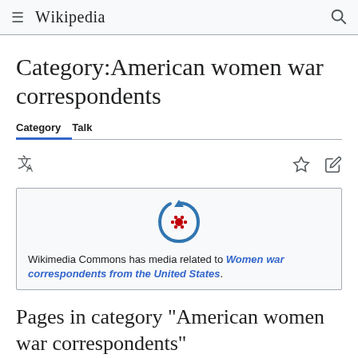≡ WIKIPEDIA 🔍
Category:American women war correspondents
Category  Talk
[Figure (logo): Wikimedia Commons logo — circular arrow with red and blue dotted center emblem]
Wikimedia Commons has media related to Women war correspondents from the United States.
Pages in category "American women war correspondents"
The following 41 pages are in this category, out of 41 total.